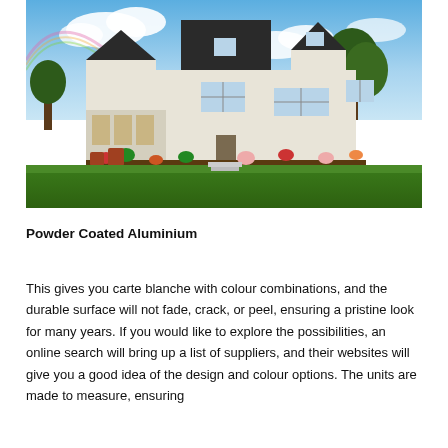[Figure (photo): Photograph of a white suburban house with dark roof, green lawn, porch with windows, flower beds, and trees under a partly cloudy blue sky]
Powder Coated Aluminium
This gives you carte blanche with colour combinations, and the durable surface will not fade, crack, or peel, ensuring a pristine look for many years. If you would like to explore the possibilities, an online search will bring up a list of suppliers, and their websites will give you a good idea of the design and colour options. The units are made to measure, ensuring